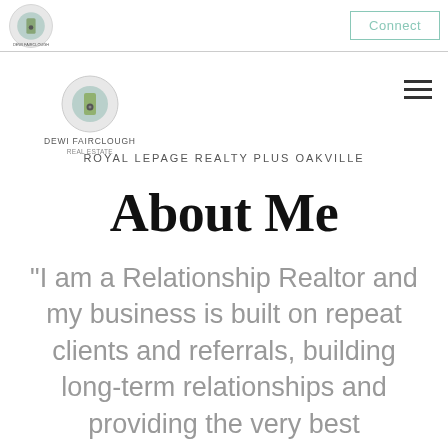DEWI FAIRCLOUGH | Connect
[Figure (logo): Dewi Fairclough Real Estate logo - circular door knob/lock emblem with olive and teal colors, centered on page]
ROYAL LEPAGE REALTY PLUS OAKVILLE
About Me
“I am a Relationship Realtor and my business is built on repeat clients and referrals, building long-term relationships and providing the very best personalized